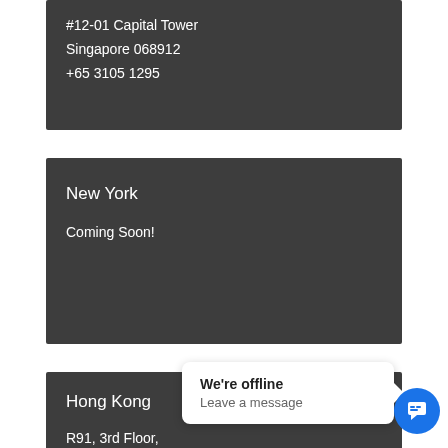#12-01 Capital Tower
Singapore 068912
+65 3105 1295
New York
Coming Soon!
Hong Kong
R91, 3rd Floor,
Eton Tower, 8 H
Causeway Bay, Hong Kong
We're offline
Leave a message